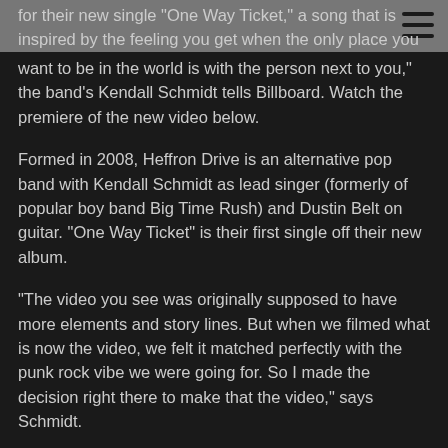for their new single "One Way Ticket," a song that is inspired by the feeling you get when the only place you want to be in the world is with the person next to you," the band's Kendall Schmidt tells Billboard. Watch the premiere of the new video below.
Formed in 2008, Heffron Drive is an alternative pop band with Kendall Schmidt as lead singer (formerly of popular boy band Big Time Rush) and Dustin Belt on guitar. "One Way Ticket" is their first single off their new album.
"The video you see was originally supposed to have more elements and story lines. But when we filmed what is now the video, we felt it matched perfectly with the punk rock vibe we were going for. So I made the decision right there to make that the video," says Schmidt.